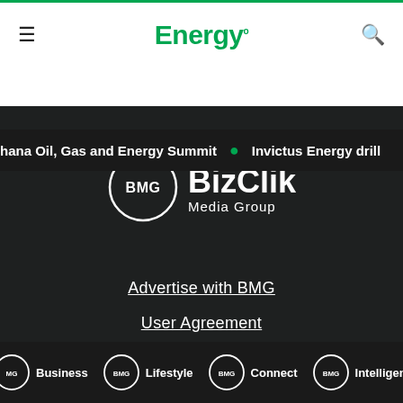Energy. [navigation bar with hamburger menu and search icon]
Ghana Oil, Gas and Energy Summit • Invictus Energy drill
[Figure (logo): BizClik Media Group logo — BMG circle monogram with BizClik Media Group text]
Advertise with BMG
User Agreement
Privacy Policy
[Figure (logo): Footer brand logos row: BMG Business, BMG Lifestyle, BMG Connect, BMG Intelligence]